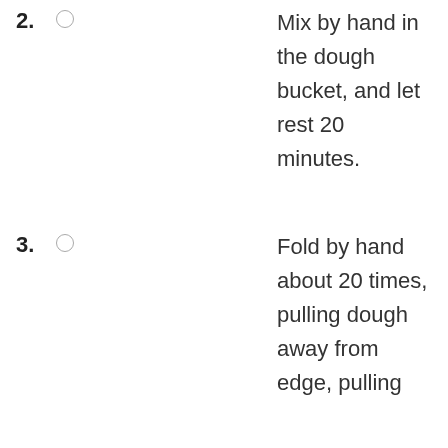2. Mix by hand in the dough bucket, and let rest 20 minutes.
3. Fold by hand about 20 times, pulling dough away from edge, pulling